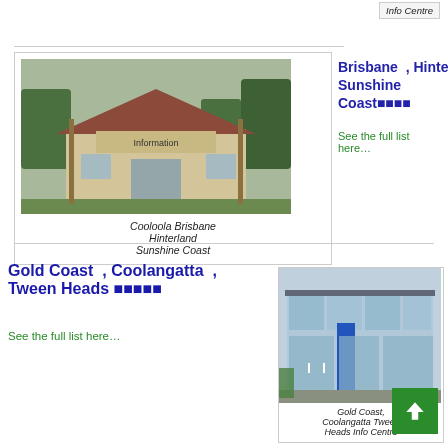Info Centre
[Figure (photo): A wooden building with a sign reading Information — Cooloola Brisbane Hinterland Sunshine Coast info centre]
Cooloola Brisbane Hinterland Sunshine Coast
Brisbane , Hinterland , Sunshine Coast■■■■
See the full list here…
Gold Coast , Coolangatta , Tween Heads ■■■■■
See the full list here…
[Figure (photo): A modern glass-fronted building with a blue pillar — Gold Coast Coolangatta Tween Heads Info Centre]
Gold Coast, Coolangatta Tween Heads Info Centre